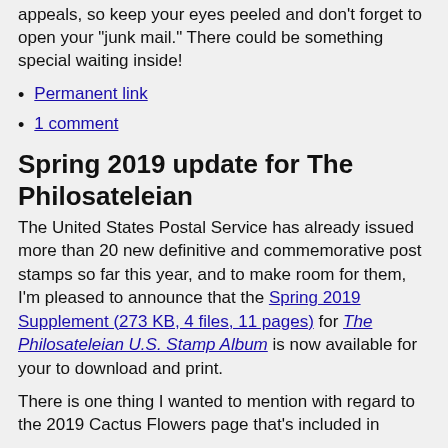appeals, so keep your eyes peeled and don't forget to open your “junk mail.” There could be something special waiting inside!
Permanent link
1 comment
Spring 2019 update for The Philosateleian
The United States Postal Service has already issued more than 20 new definitive and commemorative post stamps so far this year, and to make room for them, I’m pleased to announce that the Spring 2019 Supplement (273 KB, 4 files, 11 pages) for The Philosateleian U.S. Stamp Album is now available for your to download and print.
There is one thing I wanted to mention with regard to the 2019 Cactus Flowers page that’s included in